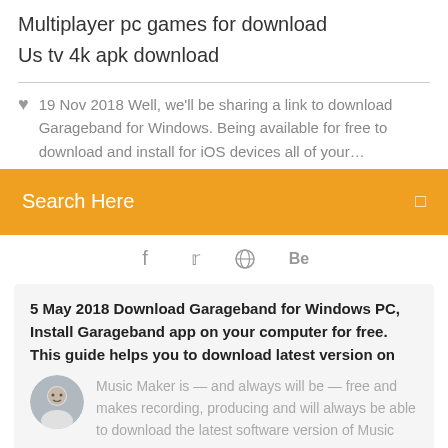Multiplayer pc games for download
Us tv 4k apk download
19 Nov 2018 Well, we'll be sharing a link to download Garageband for Windows. Being available for free to download and install for iOS devices all of your…
Search Here
[Figure (infographic): Social media icons: Facebook, Twitter, a circle icon, and Behance]
5 May 2018 Download Garageband for Windows PC, Install Garageband app on your computer for free. This guide helps you to download latest version on
Music Maker is — and always will be — free and makes recording, producing and will always be able to download the latest software version of Music